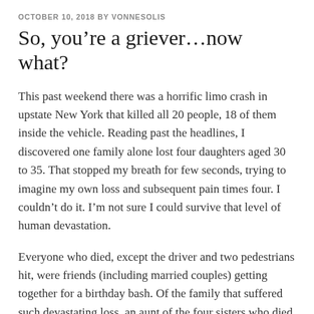OCTOBER 10, 2018 BY VONNESOLIS
So, you're a griever…now what?
This past weekend there was a horrific limo crash in upstate New York that killed all 20 people, 18 of them inside the vehicle. Reading past the headlines, I discovered one family alone lost four daughters aged 30 to 35. That stopped my breath for few seconds, trying to imagine my own loss and subsequent pain times four. I couldn't do it. I'm not sure I could survive that level of human devastation.
Everyone who died, except the driver and two pedestrians hit, were friends (including married couples) getting together for a birthday bash. Of the family that suffered such devastating loss, an aunt of the four sisters who died, spoke out. One media image captured her with hands on face, glasses shoved to the side, body in a pose